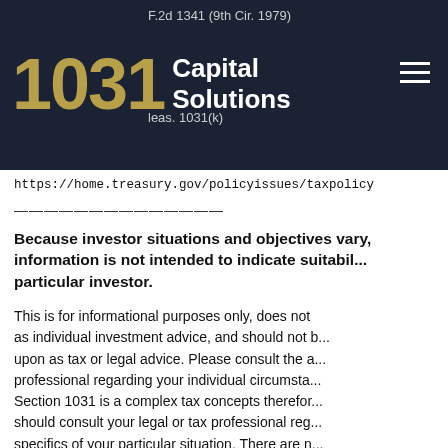F.2d 1341 (9th Cir. 1979)
1031 Capital Solutions
leas. 1031(k)
https://home.treasury.gov/policyissues/taxpolicy
——————————————
Because investor situations and objectives vary, this information is not intended to indicate suitability for any particular investor.
This is for informational purposes only, does not constitute as individual investment advice, and should not be relied upon as tax or legal advice. Please consult the appropriate professional regarding your individual circumstances. Section 1031 is a complex tax concepts therefore you should consult your legal or tax professional regarding the specifics of your particular situation. There are material risks associated with investing in real estate securities